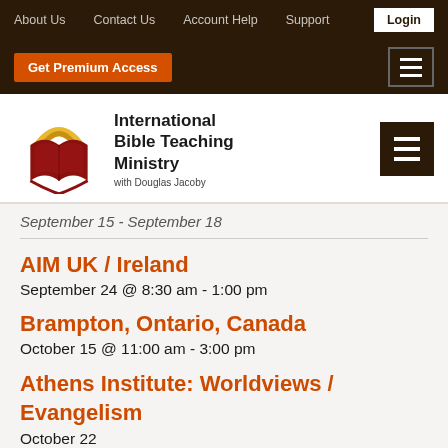About Us  Contact Us  Account Help  Support  Login
Get Premium Access
[Figure (logo): International Bible Teaching Ministry logo: open book with golden arch above in red and gold, with text 'International Bible Teaching Ministry with Douglas Jacoby']
September 15 - September 18
AIM UK / Ireland
September 24 @ 8:30 am - 1:00 pm
Brampton, Ontario, Canada
October 15 @ 11:00 am - 3:00 pm
Athens Institute: Worldviews / Evangelism
October 22